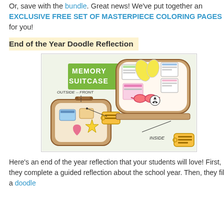Or, save with the bundle. Great news! We've put together an EXCLUSIVE FREE SET OF MASTERPIECE COLORING PAGES for you!
End of the Year Doodle Reflection
[Figure (photo): A colorful educational craft showing a 'Memory Suitcase' with two parts labeled OUTSIDE -- FRONT and INSIDE. The suitcase contains decorative elements including flip flops, writing cards, sunglasses, a soccer ball, and travel stickers.]
Here's an end of the year reflection that your students will love! First, they complete a guided reflection about the school year. Then, they fill a doodle